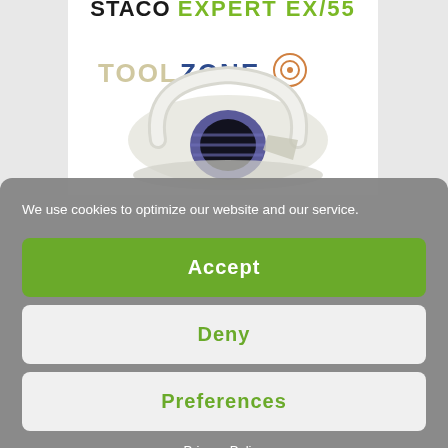[Figure (screenshot): Partial screenshot of a product page showing a tape dispenser with a 'TOOLZONE' watermark logo and partially visible brand/product text at the top cut off by page boundary]
We use cookies to optimize our website and our service.
Accept
Deny
Preferences
Privacy Policy